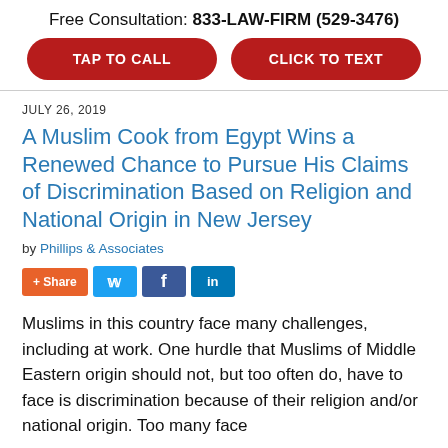Free Consultation: 833-LAW-FIRM (529-3476)
[Figure (infographic): Two red pill-shaped buttons: TAP TO CALL and CLICK TO TEXT]
JULY 26, 2019
A Muslim Cook from Egypt Wins a Renewed Chance to Pursue His Claims of Discrimination Based on Religion and National Origin in New Jersey
by Phillips & Associates
[Figure (infographic): Social sharing buttons: + Share, Twitter, Facebook, LinkedIn]
Muslims in this country face many challenges, including at work. One hurdle that Muslims of Middle Eastern origin should not, but too often do, have to face is discrimination because of their religion and/or national origin. Too many face